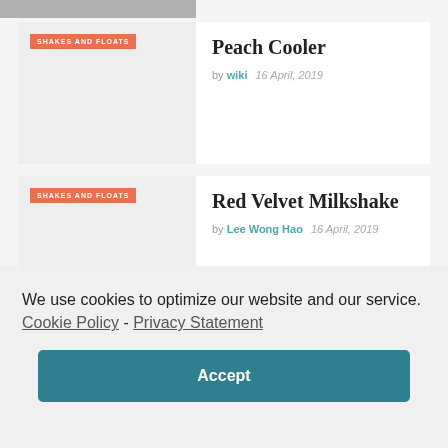[Figure (photo): Partial top image strip, cropped food/drink photo]
[Figure (photo): Peach Cooler card thumbnail with orange SHAKES AND FLOATS badge]
Peach Cooler
by wiki   16 April, 2019
[Figure (photo): Red Velvet Milkshake card thumbnail with orange SHAKES AND FLOATS badge]
Red Velvet Milkshake
by Lee Wong Hao   16 April, 2019
We use cookies to optimize our website and our service.  Cookie Policy - Privacy Statement
Accept